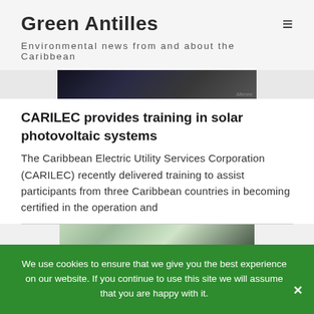Green Antilles
Environmental news from and about the Caribbean
[Figure (photo): Dark-toned photographic image strip, partially visible at top of article]
CARILEC provides training in solar photovoltaic systems
The Caribbean Electric Utility Services Corporation (CARILEC) recently delivered training to assist participants from three Caribbean countries in becoming certified in the operation and
[Figure (photo): Partial photo with green/light tones visible at bottom of page]
We use cookies to ensure that we give you the best experience on our website. If you continue to use this site we will assume that you are happy with it.